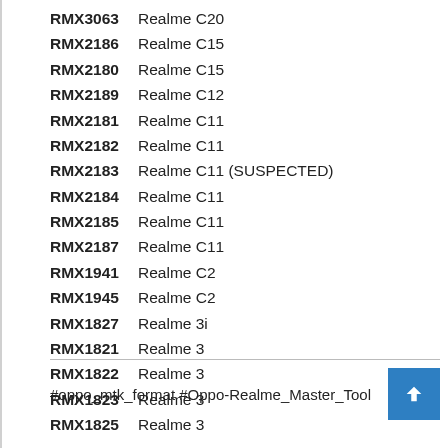RMX3063  Realme C20
RMX2186  Realme C15
RMX2180  Realme C15
RMX2189  Realme C12
RMX2181  Realme C11
RMX2182  Realme C11
RMX2183  Realme C11 (SUSPECTED)
RMX2184  Realme C11
RMX2185  Realme C11
RMX2187  Realme C11
RMX1941  Realme C2
RMX1945  Realme C2
RMX1827  Realme 3i
RMX1821  Realme 3
RMX1822  Realme 3
RMX1823  Realme 3
RMX1825  Realme 3
#oppo_mtk_format  #Oppo-Realme_Master_Tool